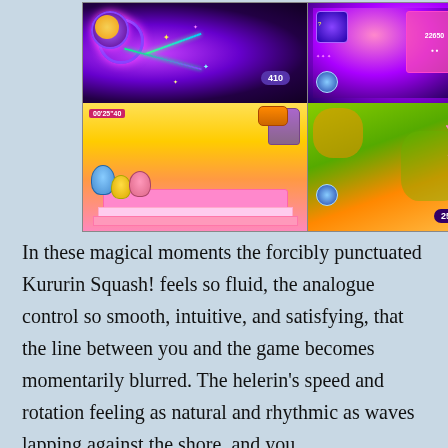[Figure (screenshot): Four colorful video game screenshots arranged in a 2x2 grid. Top left: purple/pink swirling space shooter scene with a score badge '410'. Top right: pink/purple colorful alien space scene with UI panel showing '22650'. Bottom left: vibrant cartoon cake scene with bird characters and timer '00'25"40'. Bottom right: orange and green organic scene with score '250'.]
In these magical moments the forcibly punctuated Kururin Squash! feels so fluid, the analogue control so smooth, intuitive, and satisfying, that the line between you and the game becomes momentarily blurred. The helerin's speed and rotation feeling as natural and rhythmic as waves lapping against the shore, and you